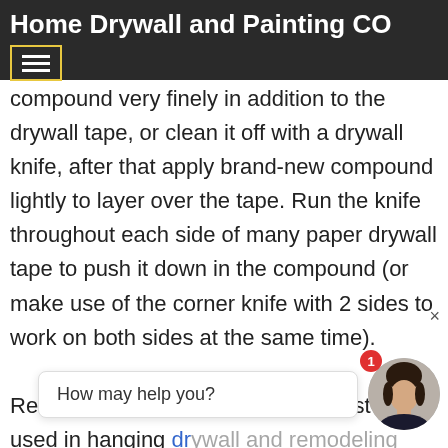Home Drywall and Painting CO
than the tape width. You will want to apply two or more additional coats, fanning out each one slightly more, until your drywall tape is completely covered, and your drywall compound is nearly completely smooth. As you work, either spread excess compound very finely in addition to the drywall tape, or clean it off with a drywall knife, after that apply brand-new compound lightly to layer over the tape. Run the knife throughout each side of many paper drywall tape to push it down in the compound (or make use of the corner knife with 2 sides to work on both sides at the same time).
Ready-mixed joint compound is most commonly used in hanging drywall and remodeling older homes. Application is simple and easy, rarely taking more than three or four coats. When used for new
[Figure (screenshot): Chat widget popup showing 'How may help you?' with a female avatar and notification badge showing '1']